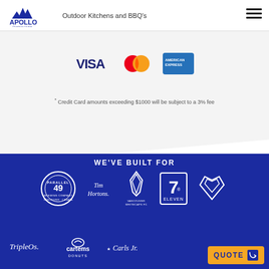[Figure (logo): Apollo Outdoor Living logo with mountain peaks icon in dark blue]
Outdoor Kitchens and BBQ's
[Figure (infographic): Payment icons: VISA, Mastercard, American Express]
* Credit Card amounts exceeding $1000 will be subject to a 3% fee
WE'VE BUILT FOR
[Figure (infographic): Client logos row 1: Parallel 49, Tim Hortons, Vancouver Whitecaps FC, 7-Eleven, diamond heart logo]
[Figure (infographic): Client logos row 2: Triple O's, Cartems Donuts, Carl's Jr.]
QUOTE